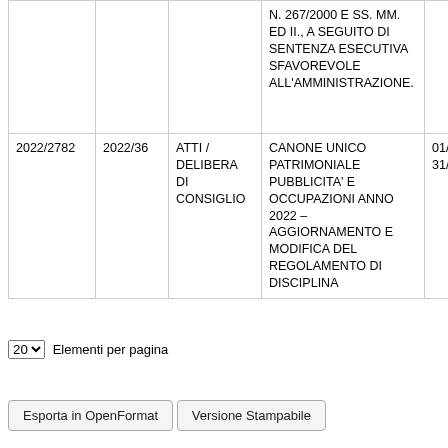|  |  |  |  |  |
| --- | --- | --- | --- | --- |
|  |  |  | N. 267/2000 E SS. MM. ED II., A SEGUITO DI SENTENZA ESECUTIVA SFAVOREVOLE ALL'AMMINISTRAZIONE. |  |
| 2022/2782 | 2022/36 | ATTI / DELIBERA DI CONSIGLIO | CANONE UNICO PATRIMONIALE PUBBLICITA' E OCCUPAZIONI ANNO 2022 – AGGIORNAMENTO E MODIFICA DEL REGOLAMENTO DI DISCIPLINA | 01/06/2022 31/12/2027 |
Inizio  Indietro  Pagina 1 di 25 (485 risultati)  Avanti  Fine
20  Elementi per pagina
Esporta in OpenFormat   Versione Stampabile